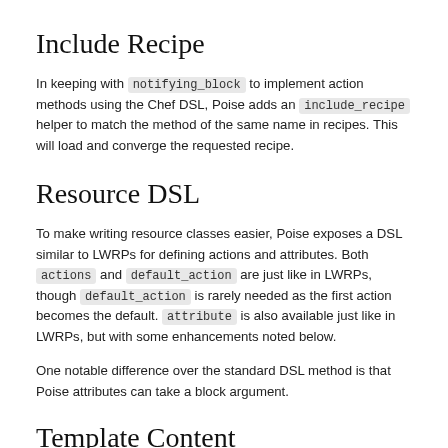Include Recipe
In keeping with notifying_block to implement action methods using the Chef DSL, Poise adds an include_recipe helper to match the method of the same name in recipes. This will load and converge the requested recipe.
Resource DSL
To make writing resource classes easier, Poise exposes a DSL similar to LWRPs for defining actions and attributes. Both actions and default_action are just like in LWRPs, though default_action is rarely needed as the first action becomes the default. attribute is also available just like in LWRPs, but with some enhancements noted below.
One notable difference over the standard DSL method is that Poise attributes can take a block argument.
Template Content
A common pattern with resources is to allow passing either a template filename or raw file content to be used in a configuration file. Poise exposes a new attribute flag to help with this behavior: